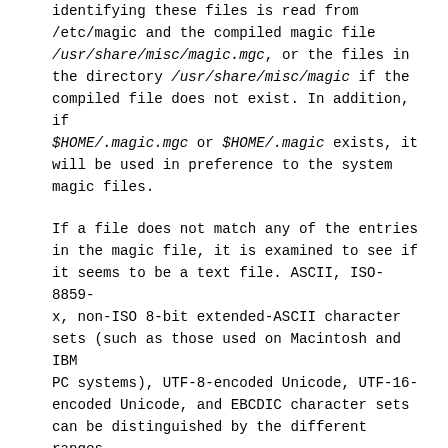identifying these files is read from /etc/magic and the compiled magic file /usr/share/misc/magic.mgc, or the files in the directory /usr/share/misc/magic if the compiled file does not exist. In addition, if $HOME/.magic.mgc or $HOME/.magic exists, it will be used in preference to the system magic files.
If a file does not match any of the entries in the magic file, it is examined to see if it seems to be a text file. ASCII, ISO-8859-x, non-ISO 8-bit extended-ASCII character sets (such as those used on Macintosh and IBM PC systems), UTF-8-encoded Unicode, UTF-16-encoded Unicode, and EBCDIC character sets can be distinguished by the different ranges and sequences of bytes that constitute printable text in each set. If a file passes any of these tests, its character set is reported. ASCII, ISO-8859-x, UTF-8, and extended-ASCII files are identified as “text” because they will be mostly readable on